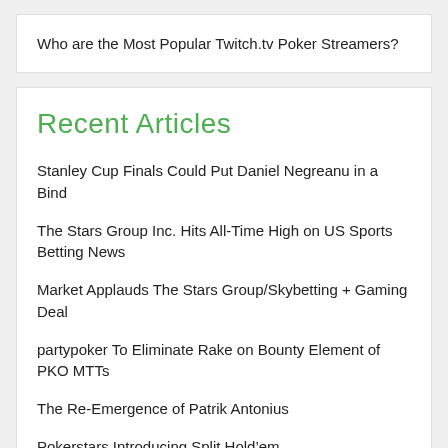Who are the Most Popular Twitch.tv Poker Streamers?
Recent Articles
Stanley Cup Finals Could Put Daniel Negreanu in a Bind
The Stars Group Inc. Hits All-Time High on US Sports Betting News
Market Applauds The Stars Group/Skybetting + Gaming Deal
partypoker To Eliminate Rake on Bounty Element of PKO MTTs
The Re-Emergence of Patrik Antonius
Pokerstars Introducing Split Hold’em
Justin Bonomo Moves Past $25 Million in Career